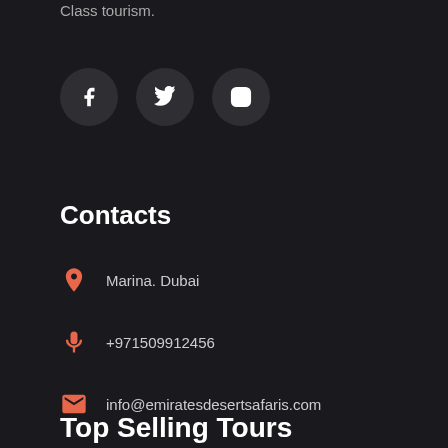Class tourism.
[Figure (infographic): Three social media icon buttons in dark grey circles: Facebook (f), Twitter (bird), Instagram (camera outline)]
Contacts
Marina. Dubai
+971509912456
info@emiratesdesertsafaris.com
Top Selling Tours